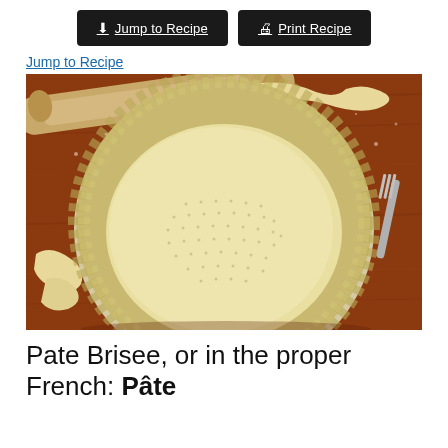Jump to Recipe | Print Recipe
Jump to Recipe
[Figure (photo): A fluted tart dish lined with pale yellow pastry dough (pate brisee), docked with fork holes across the base, sitting on a wooden surface. Excess pastry trimmings are scattered around the dish, and a rolling pin and fork are visible in the background.]
Pate Brisee, or in the proper French: Pâte